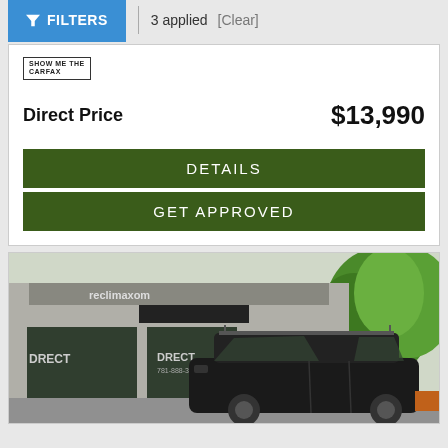FILTERS | 3 applied [Clear]
SHOW ME THE CARFAX
Direct Price  $13,990
DETAILS
GET APPROVED
[Figure (photo): Photo of a black SUV parked in front of a car dealership building with green trees in the background. Dealership signs read DIRECT with phone number 781-888-3000.]